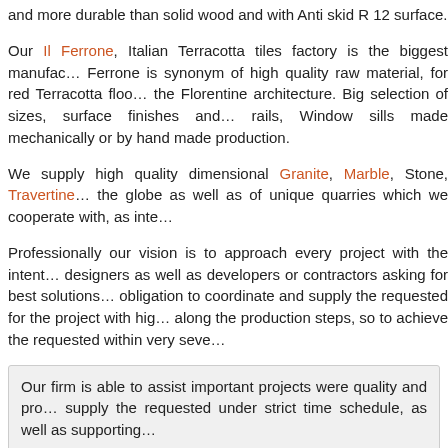and more durable than solid wood and with Anti skid R 12 surface.
Our Il Ferrone, Italian Terracotta tiles factory is the biggest manufac... Ferrone is synonym of high quality raw material, for red Terracotta floo... the Florentine architecture. Big selection of sizes, surface finishes and... rails, Window sills made mechanically or by hand made production.
We supply high quality dimensional Granite, Marble, Stone, Travertine... the globe as well as of unique quarries which we cooperate with, as inte...
Professionally our vision is to approach every project with the intent... designers as well as developers or contractors asking for best solutions... obligation to coordinate and supply the requested for the project with hig... along the production steps, so to achieve the requested within very seve...
Our firm is able to assist important projects were quality and pro... supply the requested under strict time schedule, as well as supporting...
Zeev Matar Ltd. Has been and is involved in our materials supply for M... Buildings as well as for privet building customers. We operate togethe... Landscape architect with mutual cooperation willing to give to each... through different materials and various colors and shades.